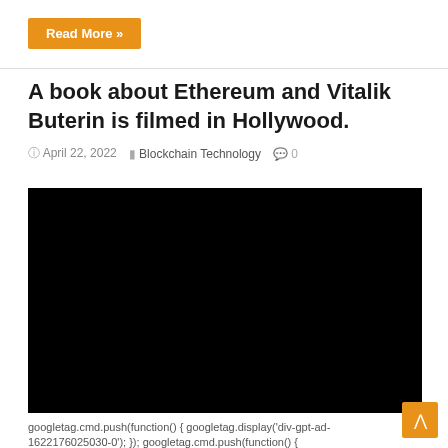Read More »
A book about Ethereum and Vitalik Buterin is filmed in Hollywood.
April 22, 2022   Blockchain Technology   0
[Figure (photo): Black video embed / thumbnail for article about Ethereum and Vitalik Buterin book filmed in Hollywood]
googletag.cmd.push(function() { googletag.display('div-gpt-ad-1622176025030-0'); }); googletag.cmd.push(function() {